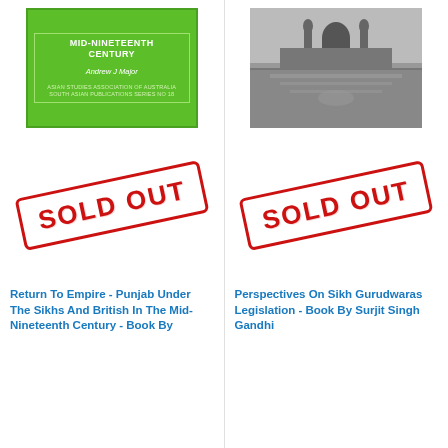[Figure (illustration): Green book cover titled relating to Punjab/Sikhs/British, Mid-Nineteenth Century, by Andrew J Major, Asian Studies Association of Australia South Asian Publications Series No 18]
[Figure (photo): Black and white photograph of what appears to be a large ornate building (likely Harmandir Sahib / Golden Temple or similar Sikh gurudwara) reflected in water]
[Figure (illustration): SOLD OUT stamp overlay on left book listing]
[Figure (illustration): SOLD OUT stamp overlay on right book listing]
Return To Empire - Punjab Under The Sikhs And British In The Mid-Nineteenth Century - Book By...
Perspectives On Sikh Gurudwaras Legislation - Book By Surjit Singh Gandhi...